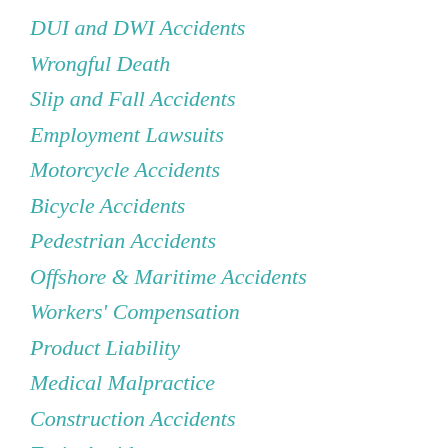DUI and DWI Accidents
Wrongful Death
Slip and Fall Accidents
Employment Lawsuits
Motorcycle Accidents
Bicycle Accidents
Pedestrian Accidents
Offshore & Maritime Accidents
Workers' Compensation
Product Liability
Medical Malpractice
Construction Accidents
Train Accidents